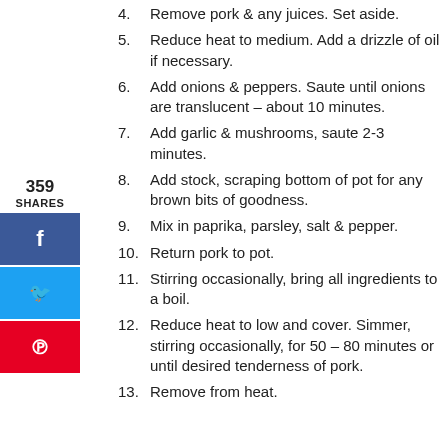4. Remove pork & any juices. Set aside.
5. Reduce heat to medium. Add a drizzle of oil if necessary.
6. Add onions & peppers. Saute until onions are translucent – about 10 minutes.
7. Add garlic & mushrooms, saute 2-3 minutes.
8. Add stock, scraping bottom of pot for any brown bits of goodness.
9. Mix in paprika, parsley, salt & pepper.
10. Return pork to pot.
11. Stirring occasionally, bring all ingredients to a boil.
12. Reduce heat to low and cover. Simmer, stirring occasionally, for 50 – 80 minutes or until desired tenderness of pork.
13. Remove from heat.